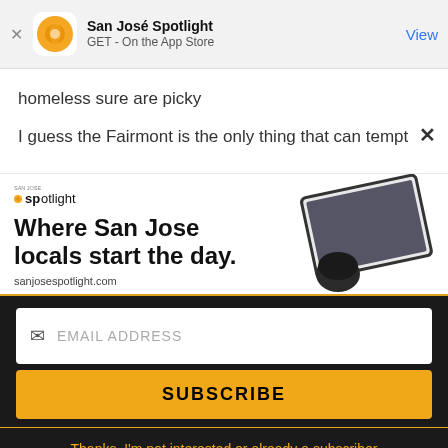[Figure (screenshot): App Store smart banner for San José Spotlight with orange circular logo, app name, GET - On the App Store subtitle, and blue View button]
homeless sure are picky
I guess the Fairmont is the only thing that can tempt
[Figure (screenshot): San Jose Spotlight advertisement banner with logo, headline 'Where San Jose locals start the day.' and tablet image]
[Figure (screenshot): Email subscribe widget with EMAIL ADDRESS input field and SUBSCRIBE button on dark background]
Thanks, I'm not interested or already a subscriber